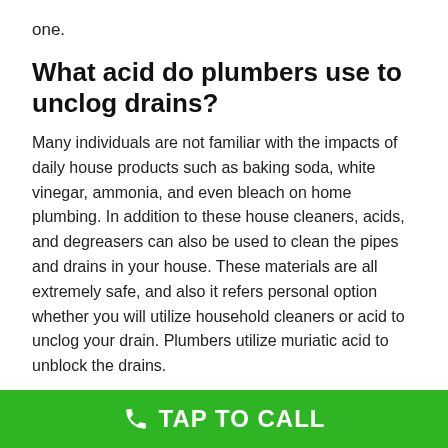one.
What acid do plumbers use to unclog drains?
Many individuals are not familiar with the impacts of daily house products such as baking soda, white vinegar, ammonia, and even bleach on home plumbing. In addition to these house cleaners, acids, and degreasers can also be used to clean the pipes and drains in your house. These materials are all extremely safe, and also it refers personal option whether you will utilize household cleaners or acid to unclog your drain. Plumbers utilize muriatic acid to unblock the drains.
Plumbers often inform you that they do not suggest this technique of using acid to unclog your drain. They may have a great factor for that, however, when you take into
TAP TO CALL